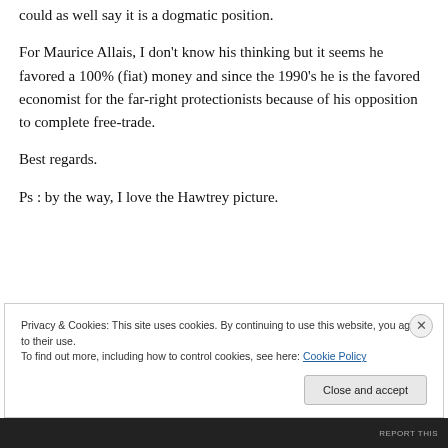could as well say it is a dogmatic position.
For Maurice Allais, I don't know his thinking but it seems he favored a 100% (fiat) money and since the 1990's he is the favored economist for the far-right protectionists because of his opposition to complete free-trade.
Best regards.
Ps : by the way, I love the Hawtrey picture.
Privacy & Cookies: This site uses cookies. By continuing to use this website, you agree to their use.
To find out more, including how to control cookies, see here: Cookie Policy